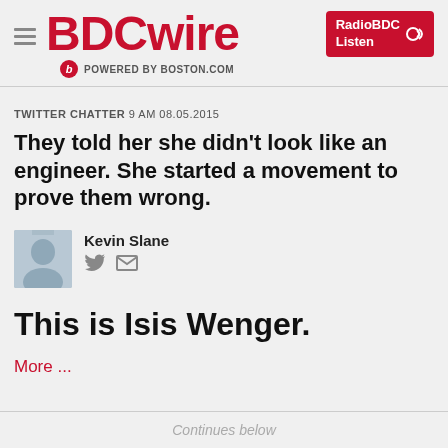BDCwire — POWERED BY BOSTON.COM — RadioBDC Listen
TWITTER CHATTER  9 AM 08.05.2015
They told her she didn't look like an engineer. She started a movement to prove them wrong.
Kevin Slane
This is Isis Wenger.
More ...
Continues below